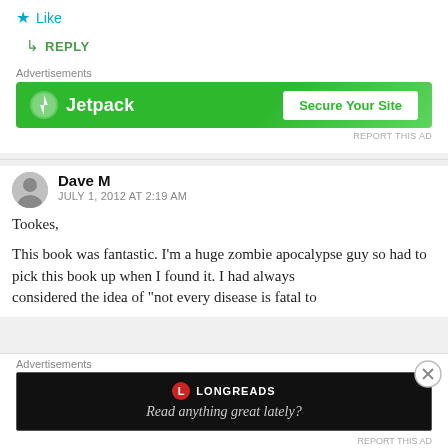★ Like
↳ REPLY
Advertisements
[Figure (other): Jetpack advertisement banner with green background, Jetpack logo and name on left, 'Secure Your Site' button on right]
REPORT THIS AD
Dave M
JULY 1, 2012 AT 2:19 AM
Tookes,

This book was fantastic. I'm a huge zombie apocalypse guy so had to pick this book up when I found it. I had always considered the idea of "not every disease is fatal to
Advertisements
[Figure (other): Longreads advertisement banner with black background, Longreads logo, and tagline 'Read anything great lately?']
REPORT THIS AD